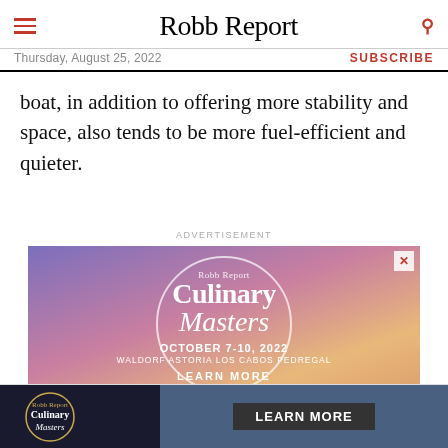Robb Report — Thursday, August 25, 2022 — SUBSCRIBE
boat, in addition to offering more stability and space, also tends to be more fuel-efficient and quieter.
ADVERTISEMENT
[Figure (illustration): Robb Report Culinary Masters advertisement. October 7-10, 2022. Waldorf Astoria Los Cabos Pedregal. Learn More. Sunset beach background with circular logo.]
[Figure (illustration): Robb Report Culinary Masters bottom banner advertisement with Learn More button.]